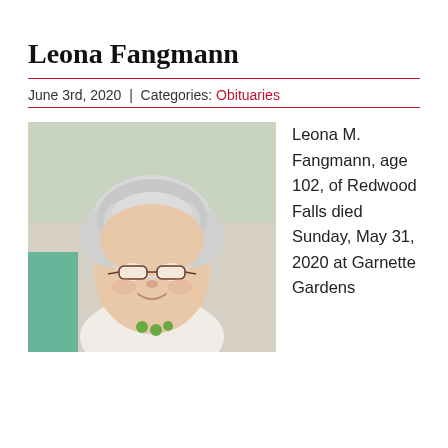Leona Fangmann
June 3rd, 2020 | Categories: Obituaries
[Figure (photo): Portrait photo of Leona Fangmann, an elderly woman with white curly hair and glasses, smiling, wearing light-colored clothing with green accessories.]
Leona M. Fangmann, age 102, of Redwood Falls died Sunday, May 31, 2020 at Garnette Gardens